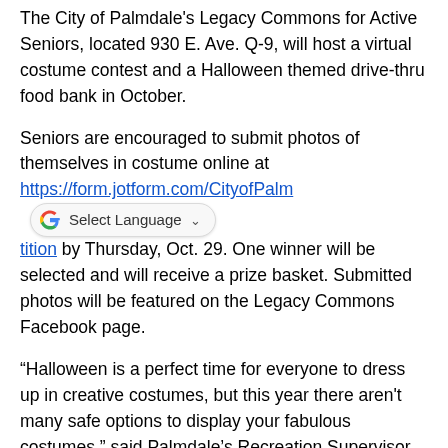The City of Palmdale's Legacy Commons for Active Seniors, located 930 E. Ave. Q-9, will host a virtual costume contest and a Halloween themed drive-thru food bank in October.
Seniors are encouraged to submit photos of themselves in costume online at https://form.jotform.com/CityofPalm[dale/LegacyCommonsCostumeCompe]tition by Thursday, Oct. 29. One winner will be selected and will receive a prize basket. Submitted photos will be featured on the Legacy Commons Facebook page.
“Halloween is a perfect time for everyone to dress up in creative costumes, but this year there aren't many safe options to display your fabulous costumes,” said Palmdale’s Recreation Supervisor Laura Rice. “So Legacy Commons is offering a virtual costume contest just for our seniors. Costumes do not have to be extravagant. Participation and having fun are what this is all about.”
Seniors are also encouraged show off their Halloween creativity at the Legacy Commons Halloween Themed Drive-Thru Food Bank on Thursday, Oct. 29 from 1 to 3:30